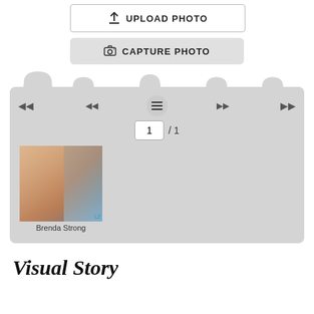[Figure (screenshot): Upload photo button with upward arrow icon and border]
[Figure (screenshot): Capture photo button with camera icon on gray background]
[Figure (screenshot): Gallery/media player panel with scalloped top edge, navigation arrows, hamburger menu, page indicator showing 1/1, and a photo of Brenda Strong with caption]
Brenda Strong
Visual Story